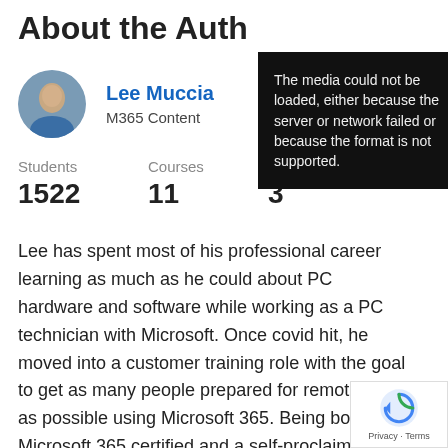About the Auth
[Figure (photo): Circular profile photo of Lee Muccia]
Lee Muccia
M365 Content
Students
1522
Courses
11
3
[Figure (screenshot): Media error overlay: 'The media could not be loaded, either because the server or network failed or because the format is not supported.']
Lee has spent most of his professional career learning as much as he could about PC hardware and software while working as a PC technician with Microsoft. Once covid hit, he moved into a customer training role with the goal to get as many people prepared for remote work as possible using Microsoft 365. Being both Microsoft 365 certified and a self-proclaimed Microsoft Teams expert, Le continues to expand his knowledge by working through the wide range of Microsoft certificatio